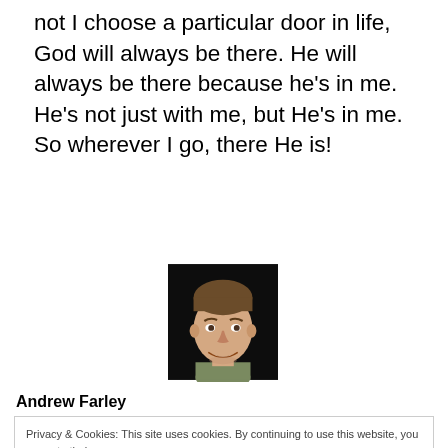not I choose a particular door in life, God will always be there. He will always be there because he's in me. He's not just with me, but He's in me. So wherever I go, there He is!
[Figure (photo): Headshot photo of Andrew Farley, a smiling young man with short brown hair, against a dark background.]
Andrew Farley
Privacy & Cookies: This site uses cookies. By continuing to use this website, you agree to their use.
To find out more, including how to control cookies, see here: Cookie Policy
Close and accept